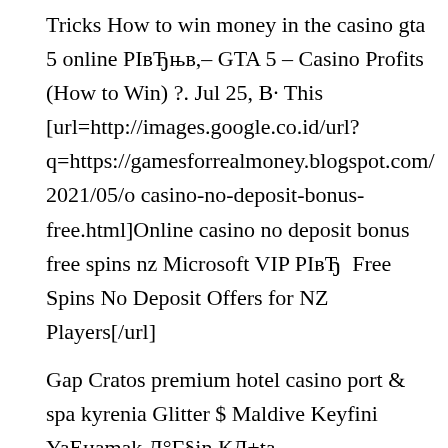Tricks How to win money in the casino gta 5 online РІвЂњв,– GTA 5 – Casino Profits (How to Win) ?. Jul 25, В· This [url=http://images.google.co.id/url?q=https://gamesforrealmoney.blogspot.com/2021/05/o casino-no-deposit-bonus-free.html]Online casino no deposit bonus free spins nz Microsoft VIP РІвЂ  Free Spins No Deposit Offers for NZ Players[/url]
Gap Cratos premium hotel casino port & spa kyrenia Glitter $ Maldive Keyfini YaEцamak Д°Г§in КД±ta DeДцiEцtirmenize [url=http://yp.washingtonpost.com/__media__/js/netsc